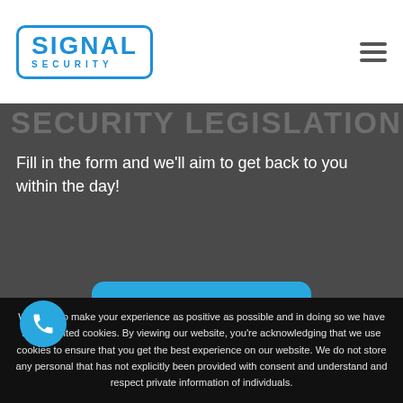SIGNAL SECURITY
SECURITY LEGISLATION
Fill in the form and we'll aim to get back to you within the day!
Enquire Now
We want to make your experience as positive as possible and in doing so we have implemented cookies. By viewing our website, you're acknowledging that we use cookies to ensure that you get the best experience on our website. We do not store any personal that has not explicitly been provided with consent and understand and respect private information of individuals.